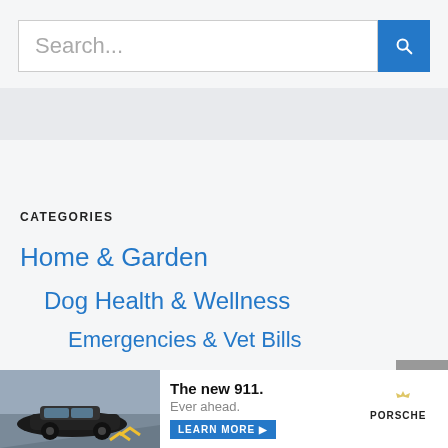[Figure (screenshot): Search bar with text placeholder 'Search...' and a blue search button with magnifying glass icon]
CATEGORIES
Home & Garden
Dog Health & Wellness
Emergencies & Vet Bills
Fun Dog Stuff
[Figure (photo): Advertisement banner: Porsche 911 car photo on left, 'The new 911. Ever ahead.' text with LEARN MORE button, Porsche logo on right]